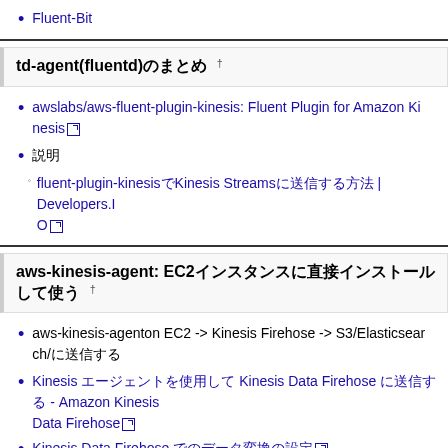Fluent-Bit
td-agent(fluentd)のまとめ †
awslabs/aws-fluent-plugin-kinesis: Fluent Plugin for Amazon Kinesis [external link]
説明
fluent-plugin-kinesisでKinesis Streamsに送信する方法 | Developers.IO [external link]
aws-kinesis-agent: EC2インスタンスに直接インストールして使う †
aws-kinesis-agenton EC2 -> Kinesis Firehose -> S3/Elasticsearchに送信する
Kinesis エージェントを使用して Kinesis Data Firehose に送信する - Amazon Kinesis Data Firehose [external link]
Kinesis Data Firehose でのデータ変換の設定 [external link]
https://github.com/awslabs/amazon-kinesis-agent/releases [external link]
メモリ: ヒープ上限85MBのps -eo comm,user:32,rss h | grep javaの結果
initdへの登録方法はCentOS 6とかと同じ